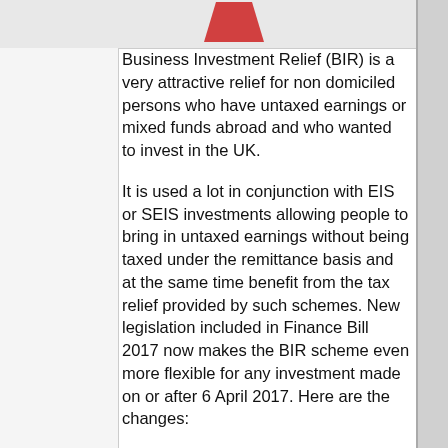[Figure (photo): Partial image visible at top of page with a red element, likely a logo or decorative graphic.]
Business Investment Relief (BIR) is a very attractive relief for non domiciled persons who have untaxed earnings or mixed funds abroad and who wanted to invest in the UK.
It is used a lot in conjunction with EIS or SEIS investments allowing people to bring in untaxed earnings without being taxed under the remittance basis and at the same time benefit from the tax relief provided by such schemes. New legislation included in Finance Bill 2017 now makes the BIR scheme even more flexible for any investment made on or after 6 April 2017. Here are the changes:
The definition of a qualifying investment will be extended to the acquisition of existing shares and not just newly issued shares in a target company.
Where the target company is preparing to